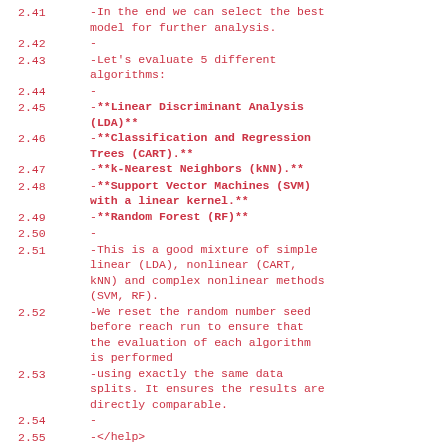2.41 -In the end we can select the best model for further analysis.
2.42 -
2.43 -Let's evaluate 5 different algorithms:
2.44 -
2.45 -**Linear Discriminant Analysis (LDA)**
2.46 -**Classification and Regression Trees (CART).**
2.47 -**k-Nearest Neighbors (kNN).**
2.48 -**Support Vector Machines (SVM) with a linear kernel.**
2.49 -**Random Forest (RF)**
2.50 -
2.51 -This is a good mixture of simple linear (LDA), nonlinear (CART, kNN) and complex nonlinear methods (SVM, RF).
2.52 -We reset the random number seed before reach run to ensure that the evaluation of each algorithm is performed
2.53 -using exactly the same data splits. It ensures the results are directly comparable.
2.54 -
2.55 -</help>
2.56 -<citations>
2.57 -  <citation>https://CRAN.R...